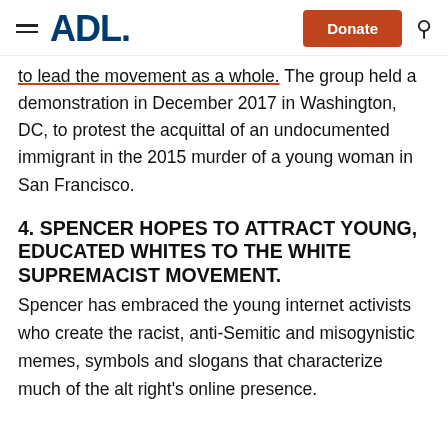ADL | Donate
to lead the movement as a whole. The group held a demonstration in December 2017 in Washington, DC, to protest the acquittal of an undocumented immigrant in the 2015 murder of a young woman in San Francisco.
4. SPENCER HOPES TO ATTRACT YOUNG, EDUCATED WHITES TO THE WHITE SUPREMACIST MOVEMENT.
Spencer has embraced the young internet activists who create the racist, anti-Semitic and misogynistic memes, symbols and slogans that characterize much of the alt right's online presence.